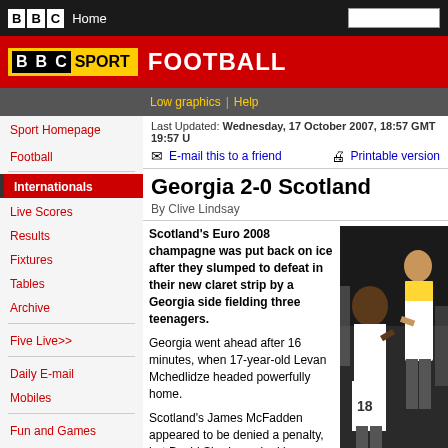BBC Home
BBC SPORT FOOTBALL
Low graphics | Help
Last Updated: Wednesday, 17 October 2007, 18:57 GMT 19:57 U
E-mail this to a friend | Printable version
Georgia 2-0 Scotland
By Clive Lindsay
Scotland's Euro 2008 champagne was put back on ice after they slumped to defeat in their new claret strip by a Georgia side fielding three teenagers.
Georgia went ahead after 16 minutes, when 17-year-old Levan Mchedlidze headed powerfully home.
Scotland's James McFadden appeared to be denied a penalty, but David Siradze poked in a second after 64 minutes.
However, the Scots' fate is still in
[Figure (photo): Football players in white Georgia kit celebrating, player with number 18 visible]
Sport Homepage
Football
Internationals
Live Scores
Results
Fixtures
Tables
Archive
Five Live>>
Daily E-mail
Mobiles
Fun and Games
Question of Sport
CHOOSE A SPORT
RELATED BBC SITES
NEWS